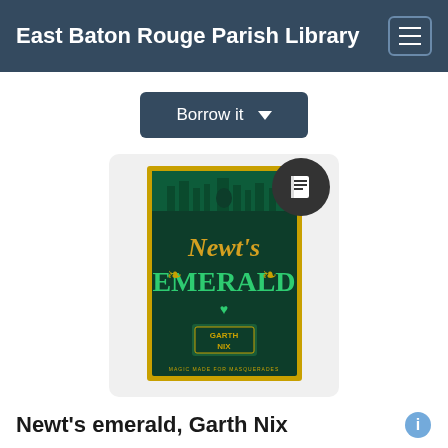East Baton Rouge Parish Library
Borrow it
[Figure (photo): Book cover of Newt's Emerald by Garth Nix, dark green background with gold text and decorative art, overlaid with a dark circular badge containing a book icon]
Newt's emerald, Garth Nix
Creator
Nix, Garth